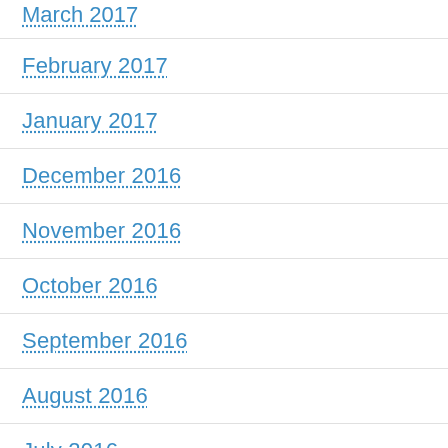March 2017
February 2017
January 2017
December 2016
November 2016
October 2016
September 2016
August 2016
July 2016